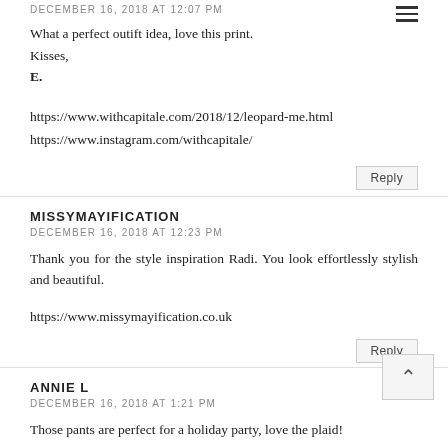DECEMBER 16, 2018 AT 12:07 PM
What a perfect outift idea, love this print.
Kisses,
E.
https://www.withcapitale.com/2018/12/leopard-me.html
https://www.instagram.com/withcapitale/
Reply
MISSYMAYIFICATION
DECEMBER 16, 2018 AT 12:23 PM
Thank you for the style inspiration Radi. You look effortlessly stylish and beautiful.
https://www.missymayification.co.uk
Reply
ANNIE L
DECEMBER 16, 2018 AT 1:21 PM
Those pants are perfect for a holiday party, love the plaid!